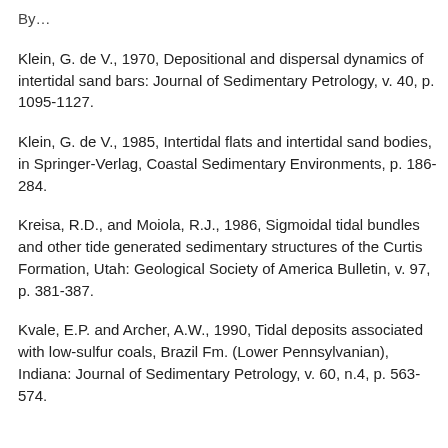By…[partial text cut off at top]
Klein, G. de V., 1970, Depositional and dispersal dynamics of intertidal sand bars: Journal of Sedimentary Petrology, v. 40, p. 1095-1127.
Klein, G. de V., 1985, Intertidal flats and intertidal sand bodies, in Springer-Verlag, Coastal Sedimentary Environments, p. 186-284.
Kreisa, R.D., and Moiola, R.J., 1986, Sigmoidal tidal bundles and other tide generated sedimentary structures of the Curtis Formation, Utah: Geological Society of America Bulletin, v. 97, p. 381-387.
Kvale, E.P. and Archer, A.W., 1990, Tidal deposits associated with low-sulfur coals, Brazil Fm. (Lower Pennsylvanian), Indiana: Journal of Sedimentary Petrology, v. 60, n.4, p. 563-574.